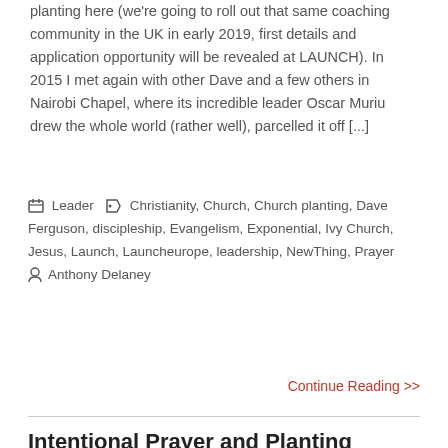planting here (we're going to roll out that same coaching community in the UK in early 2019, first details and application opportunity will be revealed at LAUNCH). In 2015 I met again with other Dave and a few others in Nairobi Chapel, where its incredible leader Oscar Muriu drew the whole world (rather well), parcelled it off [...]
Leader  Christianity, Church, Church planting, Dave Ferguson, discipleship, Evangelism, Exponential, Ivy Church, Jesus, Launch, Launcheurope, leadership, NewThing, Prayer  Anthony Delaney
Continue Reading >>
Intentional Prayer and Planting
August 12th 2018   Share
[Figure (photo): Thumbnail/preview image strip at the bottom of the page, brownish/earth tones]